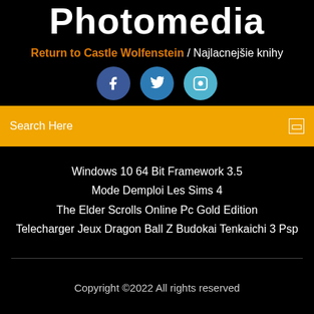Photomedia
Return to Castle Wolfenstein / Najlacnejšie knihy
[Figure (illustration): Three social media icon circles: Facebook (dark blue), Twitter (medium blue), Instagram (light blue)]
Search Here
Windows 10 64 Bit Framework 3.5
Mode Demploi Les Sims 4
The Elder Scrolls Online Pc Gold Edition
Telecharger Jeux Dragon Ball Z Budokai Tenkaichi 3 Psp
Copyright ©2022 All rights reserved